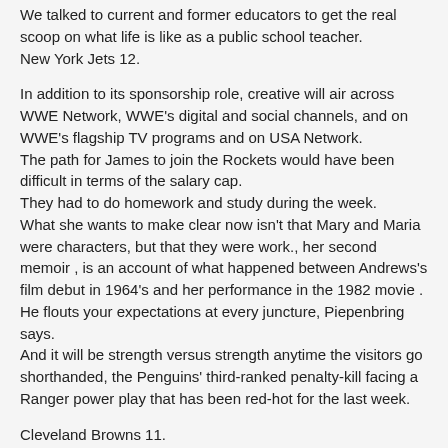We talked to current and former educators to get the real scoop on what life is like as a public school teacher.
New York Jets 12.
In addition to its sponsorship role, creative will air across WWE Network, WWE's digital and social channels, and on WWE's flagship TV programs and on USA Network.
The path for James to join the Rockets would have been difficult in terms of the salary cap.
They had to do homework and study during the week.
What she wants to make clear now isn't that Mary and Maria were characters, but that they were work., her second memoir , is an account of what happened between Andrews's film debut in 1964's and her performance in the 1982 movie .
He flouts your expectations at every juncture, Piepenbring says.
And it will be strength versus strength anytime the visitors go shorthanded, the Penguins' third-ranked penalty-kill facing a Ranger power play that has been red-hot for the last week.
Cleveland Browns 11.
He struck out nine.
FIRST IN SCORE The Rangers have tallied the first goal of the game in each of the last five games, in seven of the last eight games, and in 11 of 15 games in 2019.